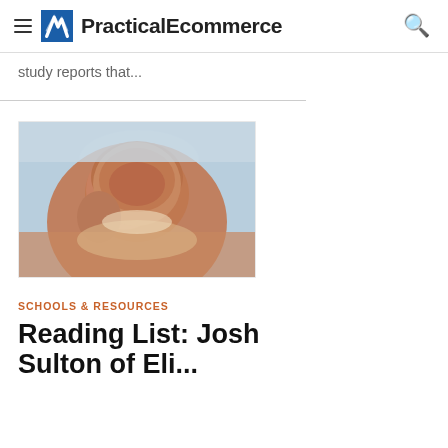PracticalEcommerce
study reports that...
[Figure (photo): Smiling man photographed outdoors with a building with domed architecture visible in the background]
SCHOOLS & RESOURCES
Reading List: Josh
Sulton of Eli...